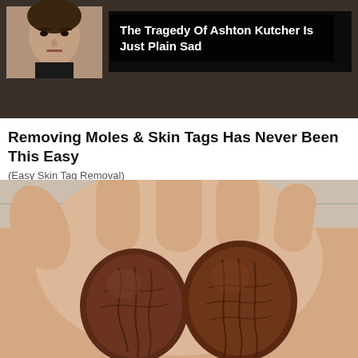[Figure (photo): Advertisement banner: thumbnail photo of Ashton Kutcher on left, dark overlay text box on right reading 'The Tragedy Of Ashton Kutcher Is Just Plain Sad', with a background image of a woman.]
Removing Moles & Skin Tags Has Never Been This Easy
(Easy Skin Tag Removal)
[Figure (photo): Close-up photo of a hand holding two large dark brown dried dates or similar fruits in the palm.]